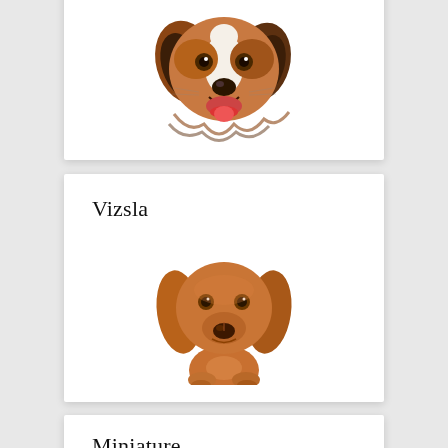[Figure (photo): Close-up portrait of a brown and white Australian Shepherd type dog with mouth open, looking at the camera, on white background]
Vizsla
[Figure (photo): Portrait of a golden-brown Vizsla puppy/dog facing the camera, on white background]
Miniature Poodle